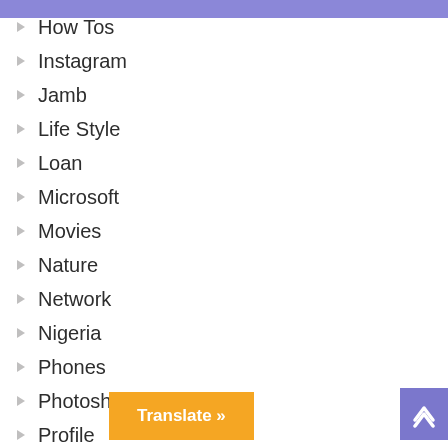How Tos
Instagram
Jamb
Life Style
Loan
Microsoft
Movies
Nature
Network
Nigeria
Phones
Photoshop
Profile